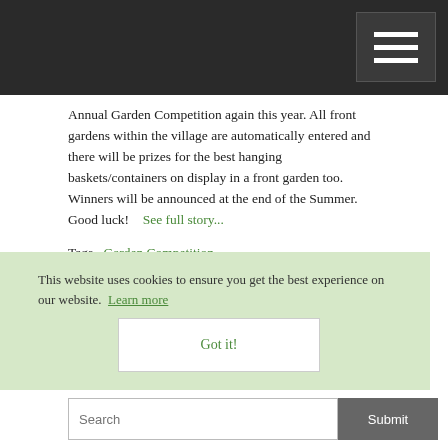Annual Garden Competition again this year. All front gardens within the village are automatically entered and there will be prizes for the best hanging baskets/containers on display in a front garden too. Winners will be announced at the end of the Summer. Good luck!   See full story...
Tags   Garden Competition
Categories   Parish Council
Written by Parish Council on Monday 8 April 2019 at 3:18PM
This website uses cookies to ensure you get the best experience on our website.  Learn more
Got it!
Search   Submit